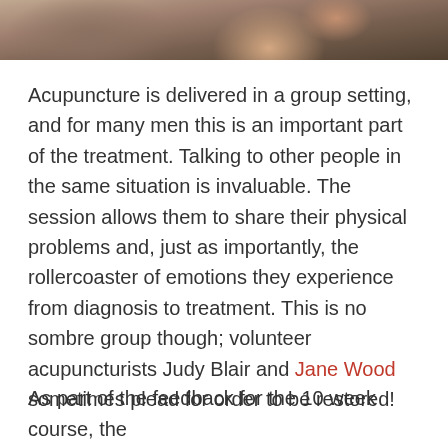[Figure (photo): Close-up photo of a person's ear and side of face/head, showing skin and dark hair, cropped at top of page]
Acupuncture is delivered in a group setting, and for many men this is an important part of the treatment. Talking to other people in the same situation is invaluable. The session allows them to share their physical problems and, just as importantly, the rollercoaster of emotions they experience from diagnosis to treatment. This is no sombre group though; volunteer acupuncturists Judy Blair and Jane Wood sometimes plead for order to be restored!
As part of the feedback for the 10 week course, the